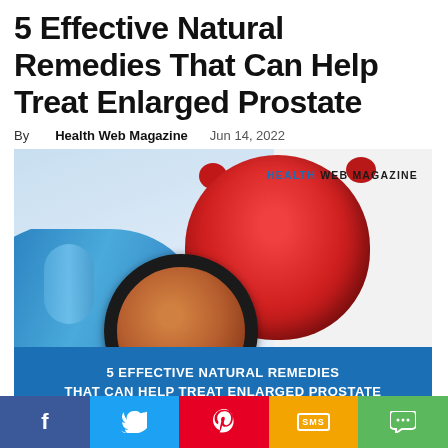5 Effective Natural Remedies That Can Help Treat Enlarged Prostate
By Health Web Magazine   Jun 14, 2022
[Figure (photo): Medical illustration showing a gloved hand holding a magnifying glass over a red anatomical prostate/kidney model on white background, with Health Web Magazine logo and blue banner overlay reading '5 EFFECTIVE NATURAL REMEDIES THAT CAN HELP TREAT ENLARGED PROSTATE']
how to treat enlarged prostate image - [Image Credit: Shutterstock]